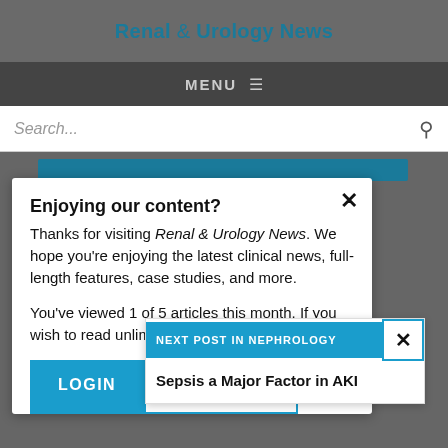Renal & Urology News
MENU
Search...
Enjoying our content?
Thanks for visiting Renal & Urology News. We hope you're enjoying the latest clinical news, full-length features, case studies, and more.

You've viewed 1 of 5 articles this month. If you wish to read unlimited content, please register or login below. Registration is free!
NEXT POST IN NEPHROLOGY
Sepsis a Major Factor in AKI
LOGIN
REGISTER